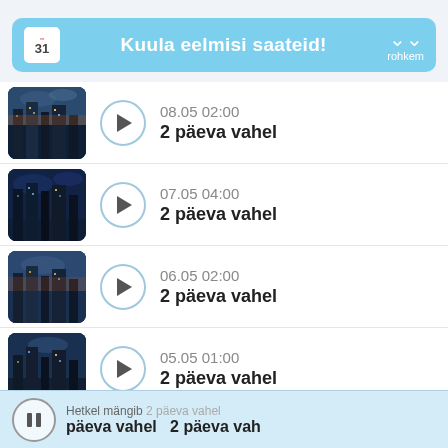Kuula eelmisi saateid! rohkem
08.05 02:00 2 päeva vahel
07.05 04:00 2 päeva vahel
06.05 02:00 2 päeva vahel
05.05 01:00 2 päeva vahel
04.05 01:00 2 päeva vahel
Hetkel mängib 2 päeva vahel   2 päeva vah